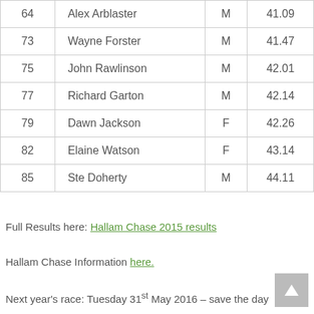| 64 | Alex Arblaster | M | 41.09 |
| 73 | Wayne Forster | M | 41.47 |
| 75 | John Rawlinson | M | 42.01 |
| 77 | Richard Garton | M | 42.14 |
| 79 | Dawn Jackson | F | 42.26 |
| 82 | Elaine Watson | F | 43.14 |
| 85 | Ste Doherty | M | 44.11 |
Full Results here: Hallam Chase 2015 results
Hallam Chase Information here.
Next year's race: Tuesday 31st May 2016 – save the day